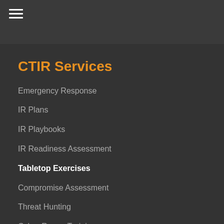[Figure (other): Hamburger menu icon (three horizontal white lines) in dark header bar]
CTIR Services
Emergency Response
IR Plans
IR Playbooks
IR Readiness Assessment
Tabletop Exercises
Compromise Assessment
Threat Hunting
Cyber Range Training
Intel on Demand